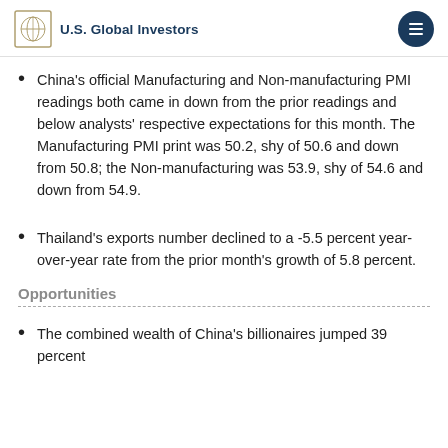U.S. Global Investors
China's official Manufacturing and Non-manufacturing PMI readings both came in down from the prior readings and below analysts' respective expectations for this month. The Manufacturing PMI print was 50.2, shy of 50.6 and down from 50.8; the Non-manufacturing was 53.9, shy of 54.6 and down from 54.9.
Thailand's exports number declined to a -5.5 percent year-over-year rate from the prior month's growth of 5.8 percent.
Opportunities
The combined wealth of China's billionaires jumped 39 percent